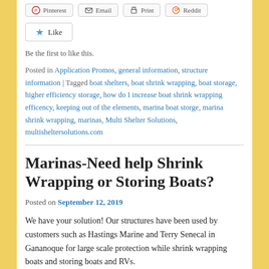[Figure (screenshot): Social share buttons row: Pinterest, Email, Print, Reddit]
[Figure (screenshot): Like button with star icon]
Be the first to like this.
Posted in Application Promos, general information, structure information | Tagged boat shelters, boat shrink wrapping, boat storage, higher efficiency storage, how do I increase boat shrink wrapping efficency, keeping out of the elements, marina boat storge, marina shrink wrapping, marinas, Multi Shelter Solutions, multisheltersolutions.com
Marinas-Need help Shrink Wrapping or Storing Boats?
Posted on September 12, 2019
We have your solution! Our structures have been used by customers such as Hastings Marine and Terry Senecal in Gananoque for large scale protection while shrink wrapping boats and storing boats and RVs.